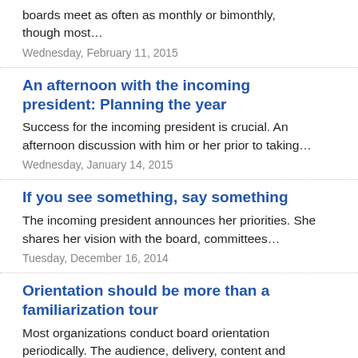boards meet as often as monthly or bimonthly, though most…
Wednesday, February 11, 2015
An afternoon with the incoming president: Planning the year
Success for the incoming president is crucial. An afternoon discussion with him or her prior to taking…
Wednesday, January 14, 2015
If you see something, say something
The incoming president announces her priorities. She shares her vision with the board, committees…
Tuesday, December 16, 2014
Orientation should be more than a familiarization tour
Most organizations conduct board orientation periodically. The audience, delivery, content and frequency…